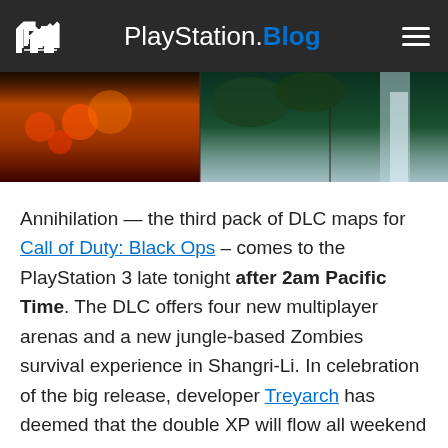PlayStation.Blog
[Figure (photo): Game screenshots showing fire and waterfall scenes from Call of Duty: Black Ops Annihilation DLC]
Annihilation — the third pack of DLC maps for Call of Duty: Black Ops – comes to the PlayStation 3 late tonight after 2am Pacific Time. The DLC offers four new multiplayer arenas and a new jungle-based Zombies survival experience in Shangri-Li. In celebration of the big release, developer Treyarch has deemed that the double XP will flow all weekend long. I'll be hosting a gameplay session this Friday night to soak some of that up myself, and my favorite game type is Domination. Truth be told, I'm not that good a shot, so objective-